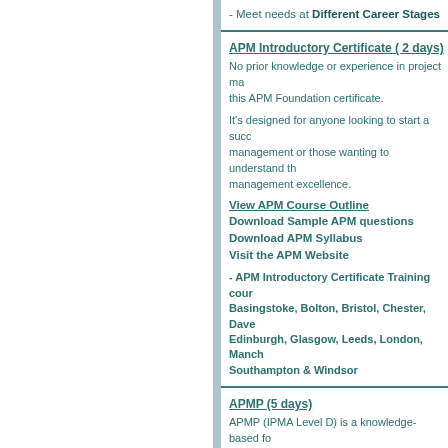- Meet needs at Different Career Stages
APM Introductory Certificate ( 2 days)
No prior knowledge or experience in project management is required to gain this APM Foundation certificate.
It's designed for anyone looking to start a successful career in project management or those wanting to understand the elements of project management excellence.
View APM Course Outline
Download Sample APM questions
Download APM Syllabus
Visit the APM Website
- APM Introductory Certificate Training courses are held in Basingstoke, Bolton, Bristol, Chester, Daventry, Edinburgh, Glasgow, Leeds, London, Manchester, Southampton & Windsor
APMP (5 days)
APMP (IPMA Level D) is a knowledge-based foundation level professional project management qualification assessing the candidate's breadth of knowledge in all the key areas of project management
View APMP Course Outline
Download APMP Syllabus
Download APMP Sample Paper
Download APMP Guidance Notes
Visit the APM Website
APMP training courses are held in Basingstoke...